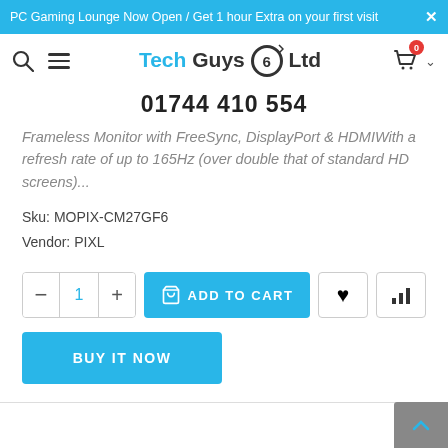PC Gaming Lounge Now Open / Get 1 hour Extra on your first visit
[Figure (logo): Tech Guys 6 Ltd logo with search and menu icons on left, cart icon on right]
01744 410 554
Frameless Monitor with FreeSync, DisplayPort & HDMIWith a refresh rate of up to 165Hz (over double that of standard HD screens)...
Sku: MOPIX-CM27GF6
Vendor: PIXL
[Figure (other): Add to cart controls: quantity selector with minus, 1, plus buttons; blue ADD TO CART button with cart icon; heart icon button; bar chart icon button]
[Figure (other): Blue BUY IT NOW button]